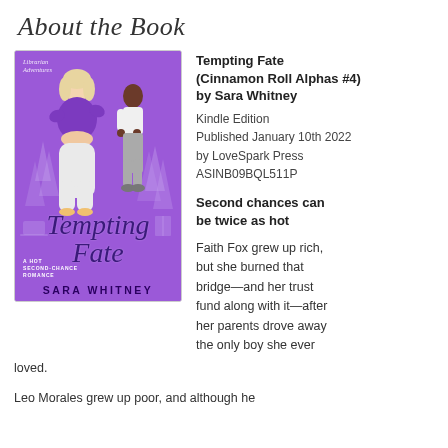About the Book
[Figure (illustration): Book cover for 'Tempting Fate' by Sara Whitney — purple background with illustrated figures of a plus-size blonde woman and a man, pine trees, title in script font, subtitle 'A Hot Second-Chance Romance']
Tempting Fate (Cinnamon Roll Alphas #4) by Sara Whitney
Kindle Edition
Published January 10th 2022 by LoveSpark Press
ASINB09BQL511P

Second chances can be twice as hot

Faith Fox grew up rich, but she burned that bridge—and her trust fund along with it—after her parents drove away the only boy she ever loved.
Leo Morales grew up poor, and although he